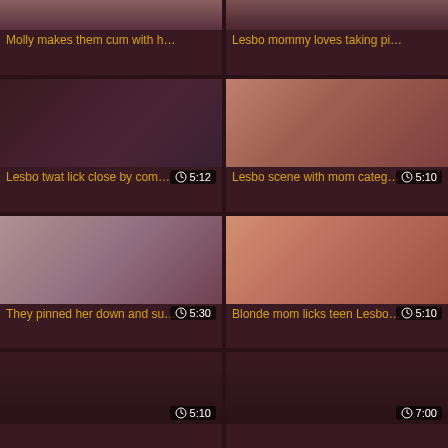[Figure (screenshot): Video thumbnail grid showing adult video thumbnails with titles and duration overlays]
Molly makes them cum with h…
Lesbo mommy loves taking pi…
Lesbo twat lick close by com…
Lesbo scene with mom categ…
They pinned her down and su…
Blonde mom licks teen Lesbo…
(partial thumbnail, 5:10)
(partial thumbnail, 7:00)